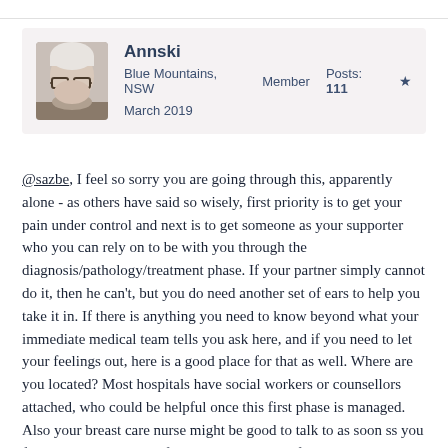[Figure (other): User profile card for Annski showing avatar photo of elderly woman with glasses, username Annski, location Blue Mountains NSW, Member status, Posts 111, star badge, and date March 2019]
@sazbe, I feel so sorry you are going through this, apparently alone - as others have said so wisely, first priority is to get your pain under control and next is to get someone as your supporter who you can rely on to be with you through the diagnosis/pathology/treatment phase. If your partner simply cannot do it, then he can't, but you do need another set of ears to help you take it in. If there is anything you need to know beyond what your immediate medical team tells you ask here, and if you need to let your feelings out, here is a good place for that as well. Where are you located? Most hospitals have social workers or counsellors attached, who could be helpful once this first phase is managed. Also your breast care nurse might be good to talk to as soon ss you feel up to it. Thinking of you and hoping you feel a bit better soon. Annski